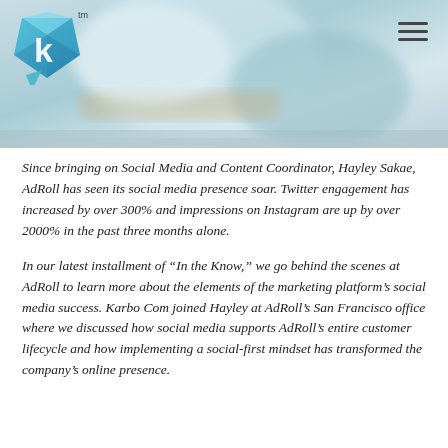[Figure (photo): Header photo showing a blurred background with blue/teal and white tones, likely an office or product setting. Karbo Com / AdRoll branded page with a diamond-K logo in the top left and a hamburger menu icon in the top right.]
Since bringing on Social Media and Content Coordinator, Hayley Sakae, AdRoll has seen its social media presence soar. Twitter engagement has increased by over 300% and impressions on Instagram are up by over 2000% in the past three months alone.
In our latest installment of “In the Know,” we go behind the scenes at AdRoll to learn more about the elements of the marketing platform’s social media success. Karbo Com joined Hayley at AdRoll’s San Francisco office where we discussed how social media supports AdRoll’s entire customer lifecycle and how implementing a social-first mindset has transformed the company’s online presence.